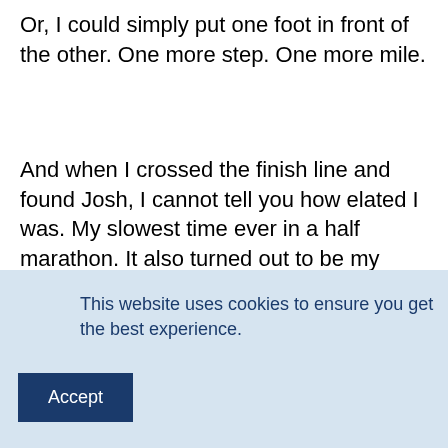Or, I could simply put one foot in front of the other. One more step. One more mile.
And when I crossed the finish line and found Josh, I cannot tell you how elated I was. My slowest time ever in a half marathon. It also turned out to be my most satisfying.
2. Trust the Process: When I started training all I could do was walk with a very pronounced limp. But I did it. Every
This website uses cookies to ensure you get the best experience.